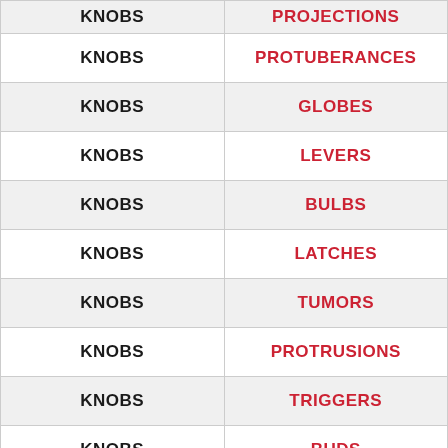| KNOBS | PROJECTIONS |
| --- | --- |
| KNOBS | PROTUBERANCES |
| KNOBS | GLOBES |
| KNOBS | LEVERS |
| KNOBS | BULBS |
| KNOBS | LATCHES |
| KNOBS | TUMORS |
| KNOBS | PROTRUSIONS |
| KNOBS | TRIGGERS |
| KNOBS | BUDS |